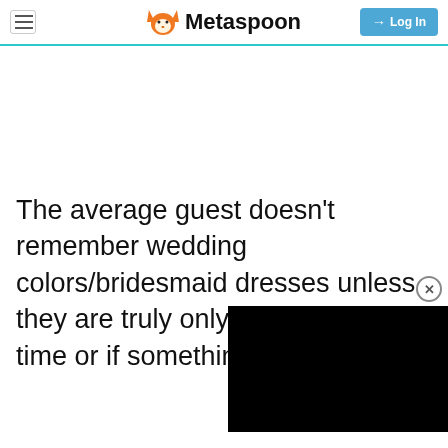Metaspoon — Log In
The average guest doesn't remember wedding colors/bridesmaid dresses unless they are truly only remember if it w time or if something happens.